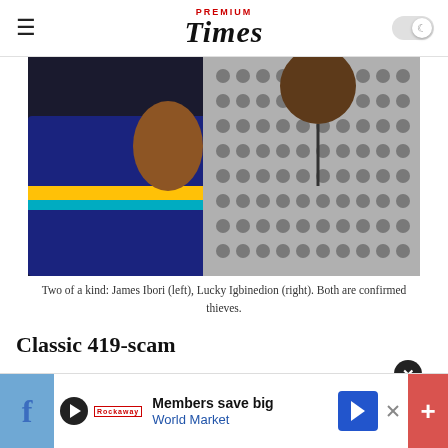PREMIUM Times
[Figure (photo): Two men side by side. One wearing a navy blue t-shirt with yellow and teal stripes, the other wearing a grey patterned agbada/dashiki. Photo taken outdoors near a wooden door.]
Two of a kind: James Ibori (left), Lucky Igbinedion (right). Both are confirmed thieves.
Classic 419-scam
Oxford-trained Ambassador Charles Crawford (Consults for...
[Figure (photo): Small circular avatar photo of a person]
Members save big
World Market
Members save big World Market